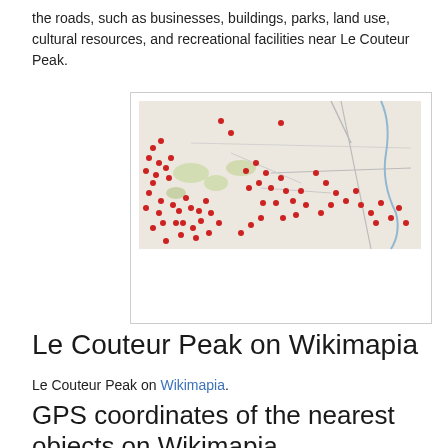the roads, such as businesses, buildings, parks, land use, cultural resources, and recreational facilities near Le Couteur Peak.
[Figure (map): A map showing the area near Le Couteur Peak with numerous red location pins scattered across the terrain, showing roads and geographic features.]
Le Couteur Peak on Wikimapia
Le Couteur Peak on Wikimapia.
GPS coordinates of the nearest objects on Wikimapia